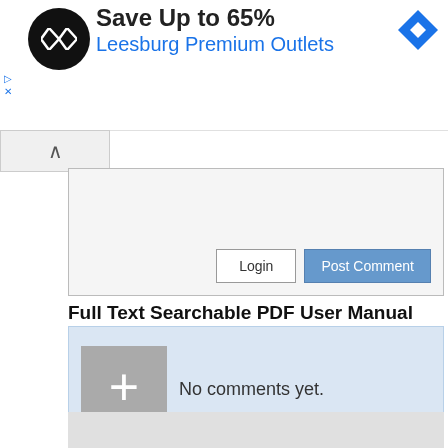[Figure (screenshot): Advertisement banner: Save Up to 65% Leesburg Premium Outlets with circular logo and navigation diamond icon]
[Figure (screenshot): Collapsible comment form area with Login and Post Comment buttons]
No comments yet.
Full Text Searchable PDF User Manual